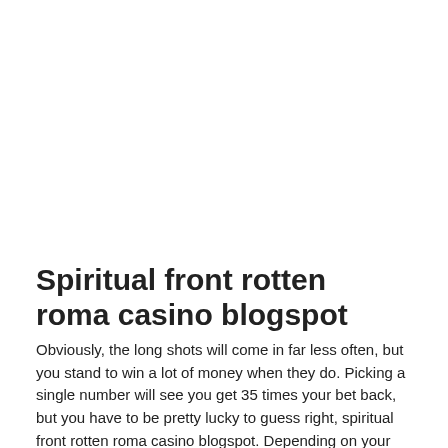Spiritual front rotten roma casino blogspot
Obviously, the long shots will come in far less often, but you stand to win a lot of money when they do. Picking a single number will see you get 35 times your bet back, but you have to be pretty lucky to guess right, spiritual front rotten roma casino blogspot. Depending on your bankroll it